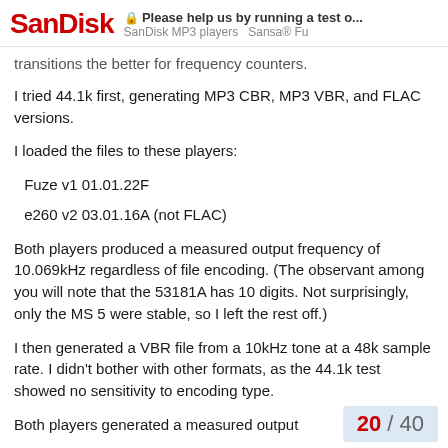SanDisk — Please help us by running a test o... | SanDisk MP3 players  Sansa® Fu
transitions the better for frequency counters.
I tried 44.1k first, generating MP3 CBR, MP3 VBR, and FLAC versions.
I loaded the files to these players:
Fuze v1 01.01.22F
e260 v2 03.01.16A (not FLAC)
Both players produced a measured output frequency of 10.069kHz regardless of file encoding. (The observant among you will note that the 53181A has 10 digits. Not surprisingly, only the MS 5 were stable, so I left the rest off.)
I then generated a VBR file from a 10kHz tone at a 48k sample rate. I didn't bother with other formats, as the 44.1k test showed no sensitivity to encoding type.
Both players generated a measured output
20 / 40